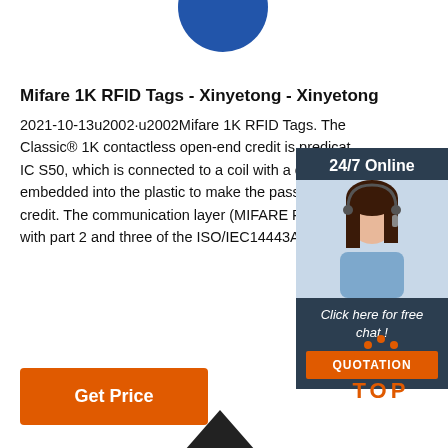[Figure (illustration): Partial blue circle at top center of page]
Mifare 1K RFID Tags - Xinyetong - Xinyetong
2021-10-13u2002·u2002Mifare 1K RFID Tags. The Classic® 1K contactless open-end credit is predicated IC S50, which is connected to a coil with a couple of embedded into the plastic to make the passive conta credit. The communication layer (MIFARE RF Interfa with part 2 and three of the ISO/IEC14443A standar
[Figure (infographic): 24/7 Online chat widget with agent photo, 'Click here for free chat!' text, and orange QUOTATION button]
[Figure (illustration): Orange 'Get Price' button]
[Figure (illustration): Orange TOP icon with dots above and text TOP below]
[Figure (illustration): Partial black upward arrow at bottom center]